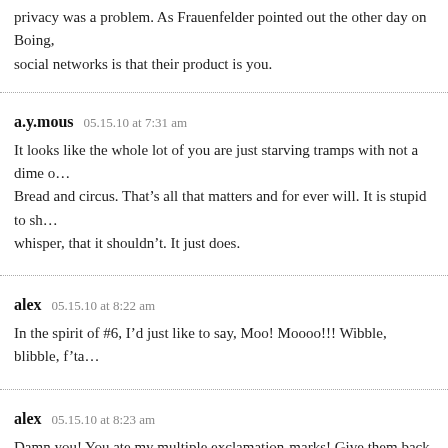privacy was a problem. As Frauenfelder pointed out the other day on Boing, social networks is that their product is you.
a.y.mous   05.15.10 at 7:31 am
It looks like the whole lot of you are just starving tramps with not a dime o… Bread and circus. That’s all that matters and for ever will. It is stupid to sh… whisper, that it shouldn’t. It just does.
alex   05.15.10 at 8:22 am
In the spirit of #6, I’d just like to say, Moo! Moooo!!! Wibble, blibble, f’ta…
alex   05.15.10 at 8:23 am
Damn you! You ate my multiple exclamation-marks! Give them back, how… individuality and my commitment to personal freedom?
Walt   05.15.10 at 8:34 am